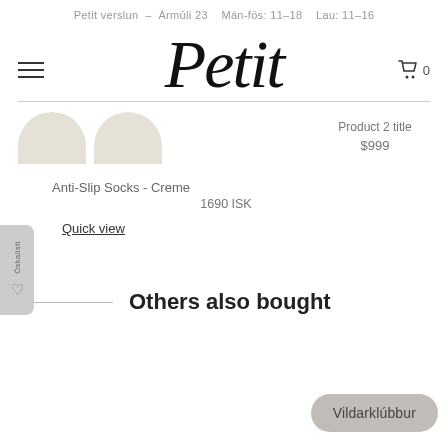Petit verslun  –  Ármúli 23   Mán-fös: 11–18   Lau: 11–16
[Figure (logo): Petit script logo with hamburger menu and cart icon]
Product 2 title
$999
Anti-Slip Socks - Creme
1690 ISK
Quick view
Others also bought
Vildarklúbbur